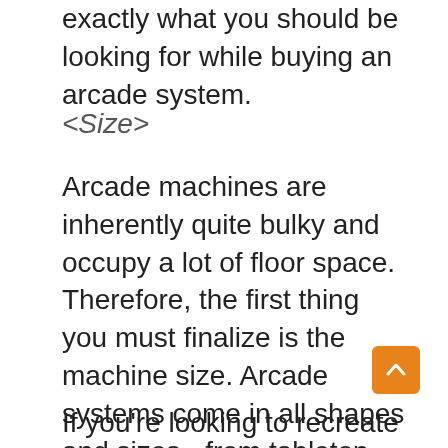exactly what you should be looking for while buying an arcade system.
<Size>
Arcade machines are inherently quite bulky and occupy a lot of floor space. Therefore, the first thing you must finalize is the machine size. Arcade systems come in all shapes and sizes - from tabletop variants to cocktail. If you're shy on space, you can opt for a tabletop or mini arcade machine. They're portable and quite easy to move around. However, the playability isn't the best but good enough for home use.
If you're looking to recreate that true arcade